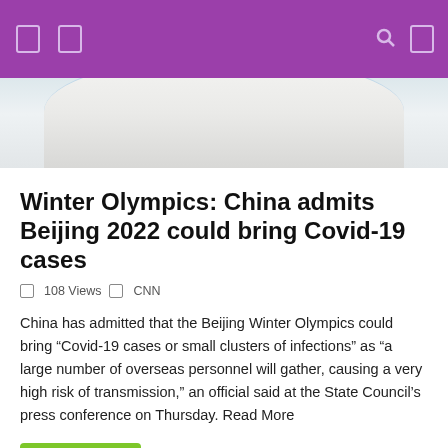Navigation header with icons
[Figure (photo): Hero image showing a bowl or circular object from above with light gray tones]
Winter Olympics: China admits Beijing 2022 could bring Covid-19 cases
108 Views  CNN
China has admitted that the Beijing Winter Olympics could bring “Covid-19 cases or small clusters of infections” as “a large number of overseas personnel will gather, causing a very high risk of transmission,” an official said at the State Council’s press conference on Thursday. Read More
Read more
[Figure (photo): Strip of book covers at the bottom of the page including 'The Autobiography of Alice B. Toklas', a green book, 'Better To...', a blue book, and 'The Trouble']